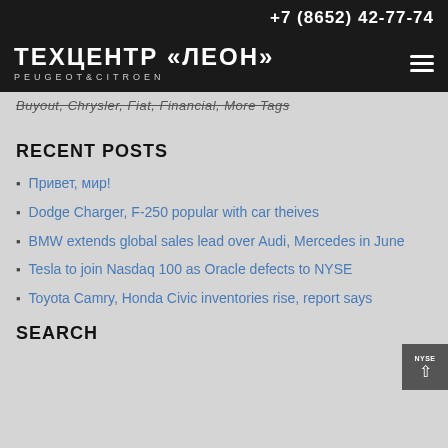+7 (8652) 42-77-74
ТЕХЦЕНТР «ЛЕОН» PEUGEOT&CITROEN
Buyout, Chrysler, Fiat, Financial, More Tags
RECENT POSTS
Привет, мир!
Dodge Charger, F-250 popular with car theives
BMW extends global sales lead over Audi, Mercedes in June
Tesla to join Nasdaq 100 as Oracle defects to NYSE
Toyota Camry, Honda Civic inventories rise, report says
SEARCH